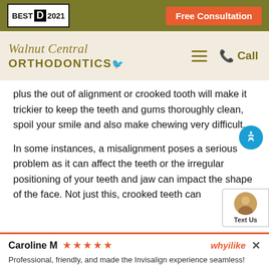BEST D 2021 | Free Consultation
[Figure (logo): Walnut Central Orthodontics logo with script text and bird illustration, with hamburger menu icon and Call button]
plus the out of alignment or crooked tooth will make it trickier to keep the teeth and gums thoroughly clean, spoil your smile and also make chewing very difficult.
In some instances, a misalignment poses a serious problem as it can affect the teeth or the irregular positioning of your teeth and jaw can impact the shape of the face. Not just this, crooked teeth can
Caroline M ★★★★★  whyilike  ×
Professional, friendly, and made the Invisalign experience seamless!
orthodontic procedure to improve the appearance